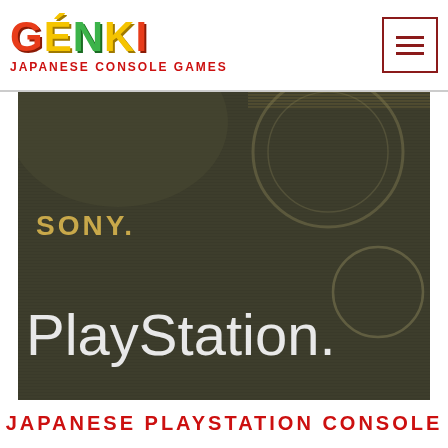[Figure (logo): GENKI Japanese Console Games logo — colorful stylized text with GENKI in large letters (red, yellow, green) and 'JAPANESE CONSOLE GAMES' in red below]
[Figure (photo): Close-up photo of a Sony PlayStation console box showing 'SONY.' branding at top left and 'PlayStation.' logo in large white text on a dark olive/grey background with abstract circular PlayStation controller button shapes in the background]
JAPANESE PLAYSTATION CONSOLE